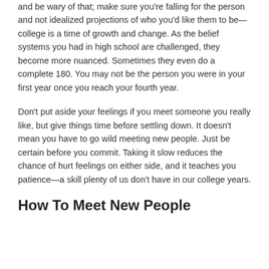and be wary of that; make sure you're falling for the person and not idealized projections of who you'd like them to be—college is a time of growth and change. As the belief systems you had in high school are challenged, they become more nuanced. Sometimes they even do a complete 180. You may not be the person you were in your first year once you reach your fourth year.
Don't put aside your feelings if you meet someone you really like, but give things time before settling down. It doesn't mean you have to go wild meeting new people. Just be certain before you commit. Taking it slow reduces the chance of hurt feelings on either side, and it teaches you patience—a skill plenty of us don't have in our college years.
How To Meet New People